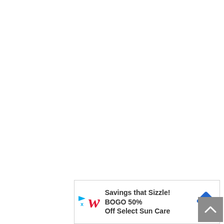[Figure (infographic): Walgreens advertisement banner at the bottom of the page. Shows Walgreens cursive red W logo, text 'Savings that Sizzle! BOGO 50% Off Select Sun Care', a blue diamond-shaped arrow icon, and a close button with triangle and X. A grey scroll-to-top button with upward arrow chevron appears in the bottom-right corner.]